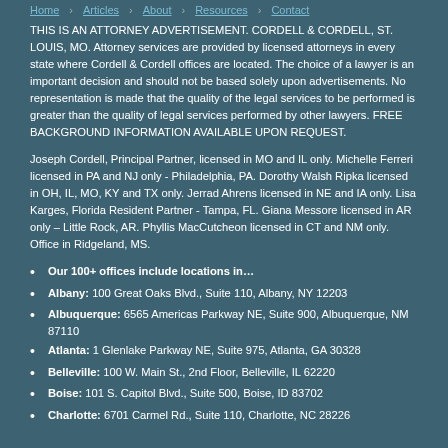Home · Articles · About · Resources · Contact
THIS IS AN ATTORNEY ADVERTISEMENT. CORDELL & CORDELL, ST. LOUIS, MO. Attorney services are provided by licensed attorneys in every state where Cordell & Cordell offices are located. The choice of a lawyer is an important decision and should not be based solely upon advertisements. No representation is made that the quality of the legal services to be performed is greater than the quality of legal services performed by other lawyers. FREE BACKGROUND INFORMATION AVAILABLE UPON REQUEST.
Joseph Cordell, Principal Partner, licensed in MO and IL only. Michelle Ferreri licensed in PA and NJ only - Philadelphia, PA. Dorothy Walsh Ripka licensed in OH, IL, MO, KY and TX only. Jerrad Ahrens licensed in NE and IA only. Lisa Karges, Florida Resident Partner - Tampa, FL. Giana Messore licensed in AR only – Little Rock, AR. Phyllis MacCutcheon licensed in CT and NM only. Office in Ridgeland, MS.
Our 100+ offices include locations in…
Albany: 100 Great Oaks Blvd., Suite 110, Albany, NY 12203
Albuquerque: 6565 Americas Parkway NE, Suite 900, Albuquerque, NM 87110
Atlanta: 1 Glenlake Parkway NE, Suite 975, Atlanta, GA 30328
Belleville: 100 W. Main St., 2nd Floor, Belleville, IL 62220
Boise: 101 S. Capitol Blvd., Suite 500, Boise, ID 83702
Charlotte: 6701 Carmel Rd., Suite 110, Charlotte, NC 28226